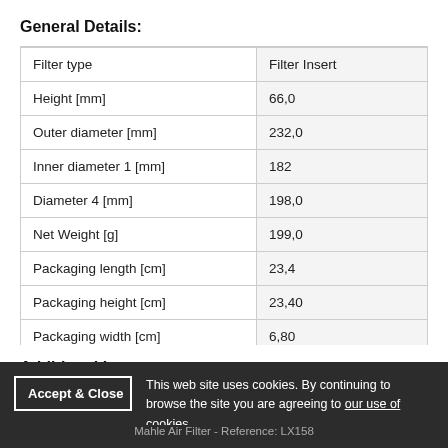General Details:
|  |  |
| --- | --- |
| Filter type | Filter Insert |
| Height [mm] | 66,0 |
| Outer diameter [mm] | 232,0 |
| Inner diameter 1 [mm] | 182 |
| Diameter 4 [mm] | 198,0 |
| Net Weight [g] | 199,0 |
| Packaging length [cm] | 23,4 |
| Packaging height [cm] | 23,40 |
| Packaging width [cm] | 6,80 |
Additional Images:
This web site uses cookies. By continuing to browse the site you are agreeing to our use of cookies.
Mahle Air Filter - Reference: LX158